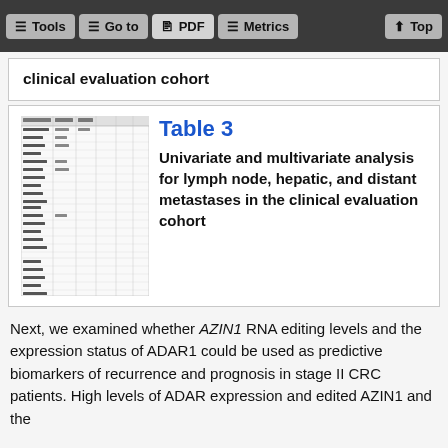Tools  Go to  PDF  Metrics  Top
clinical evaluation cohort
Table 3
Univariate and multivariate analysis for lymph node, hepatic, and distant metastases in the clinical evaluation cohort
Next, we examined whether AZIN1 RNA editing levels and the expression status of ADAR1 could be used as predictive biomarkers of recurrence and prognosis in stage II CRC patients. High levels of ADAR expression and edited AZIN1 and the